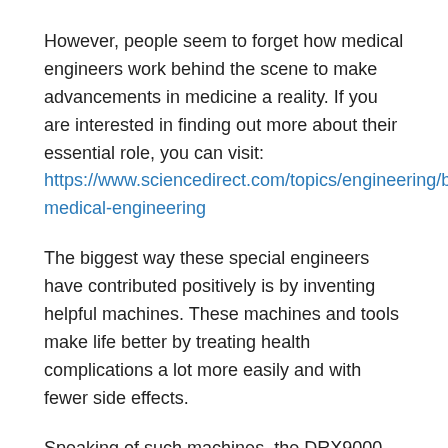However, people seem to forget how medical engineers work behind the scene to make advancements in medicine a reality. If you are interested in finding out more about their essential role, you can visit: https://www.sciencedirect.com/topics/engineering/biomedical-engineering
The biggest way these special engineers have contributed positively is by inventing helpful machines. These machines and tools make life better by treating health complications a lot more easily and with fewer side effects.
Speaking of such machines, the DRX9000 spinal decompression machine is a good example. This is one machine that top-notch chiropractors in OKC, other parts of the country, and the world at large are making the most of.